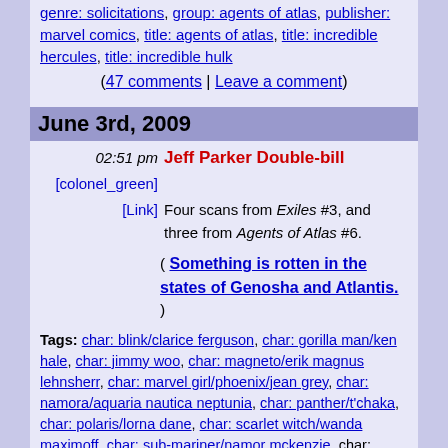genre: solicitations, group: agents of atlas, publisher: marvel comics, title: agents of atlas, title: incredible hercules, title: incredible hulk
(47 comments | Leave a comment)
June 3rd, 2009
02:51 pm Jeff Parker Double-bill
[colonel_green]
[Link]
Four scans from Exiles #3, and three from Agents of Atlas #6.
( Something is rotten in the states of Genosha and Atlantis. )
Tags: char: blink/clarice ferguson, char: gorilla man/ken hale, char: jimmy woo, char: magneto/erik magnus lehnsherr, char: marvel girl/phoenix/jean grey, char: namora/aquaria nautica neptunia, char: panther/t'chaka, char: polaris/lorna dane, char: scarlet witch/wanda maximoff, char: sub-mariner/namor mckenzie, char: